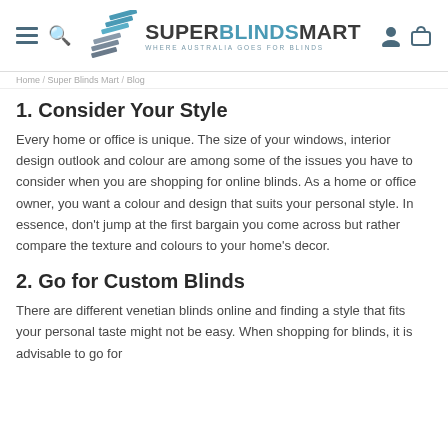[Figure (logo): SuperBlindsMart logo with diagonal blind slat graphic and tagline 'WHERE AUSTRALIA GOES FOR BLINDS']
breadcrumb navigation links
1. Consider Your Style
Every home or office is unique. The size of your windows, interior design outlook and colour are among some of the issues you have to consider when you are shopping for online blinds. As a home or office owner, you want a colour and design that suits your personal style. In essence, don't jump at the first bargain you come across but rather compare the texture and colours to your home's decor.
2. Go for Custom Blinds
There are different venetian blinds online and finding a style that fits your personal taste might not be easy. When shopping for blinds, it is advisable to go for